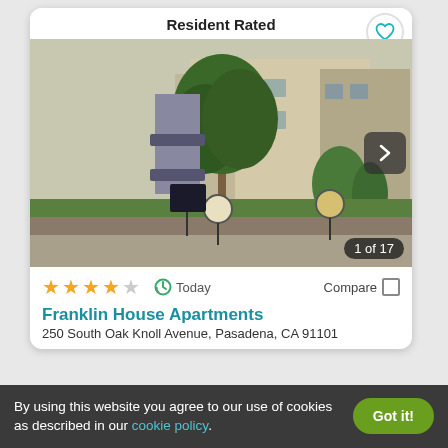Resident Rated
[Figure (photo): Apartment building exterior with palm trees, shrubs, and lawn signs]
1 of 17
★★★★☆  Today  Compare
Franklin House Apartments
250 South Oak Knoll Avenue, Pasadena, CA 91101
By using this website you agree to our use of cookies as described in our cookie policy.